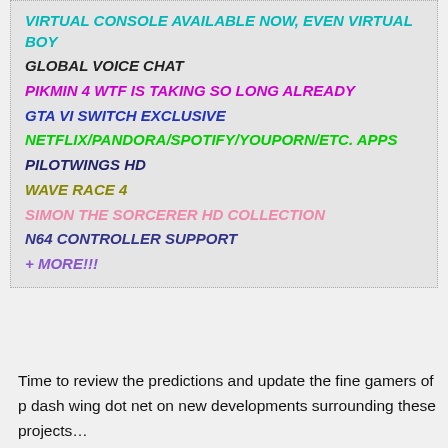VIRTUAL CONSOLE AVAILABLE NOW, EVEN VIRTUAL BOY
GLOBAL VOICE CHAT
PIKMIN 4 WTF IS TAKING SO LONG ALREADY
GTA VI SWITCH EXCLUSIVE
NETFLIX/PANDORA/SPOTIFY/YOUPORN/ETC. APPS
PILOTWINGS HD
WAVE RACE 4
SIMON THE SORCERER HD COLLECTION
N64 CONTROLLER SUPPORT
+ MORE!!!
Time to review the predictions and update the fine gamers of p dash wing dot net on new developments surrounding these projects…